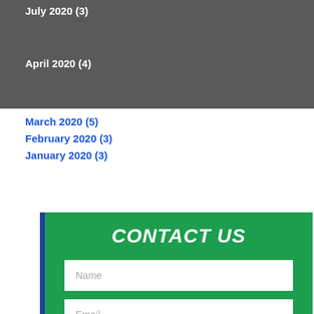July 2020 (3)
June 2020 (2)
May 2020 (3)
April 2020 (4)
March 2020 (5)
February 2020 (3)
January 2020 (3)
CONTACT US
Name
Email
Phone Number